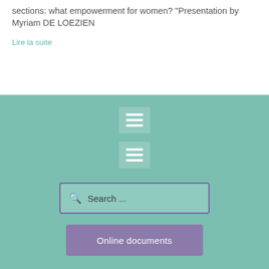sections: what empowerment for women? "Presentation by Myriam DE LOEZIEN
Lire la suite
[Figure (screenshot): Teal/green background section with two hamburger menu icon buttons stacked vertically, a search input box with placeholder text 'Search ...' bordered in purple, and a purple 'Online documents' button below.]